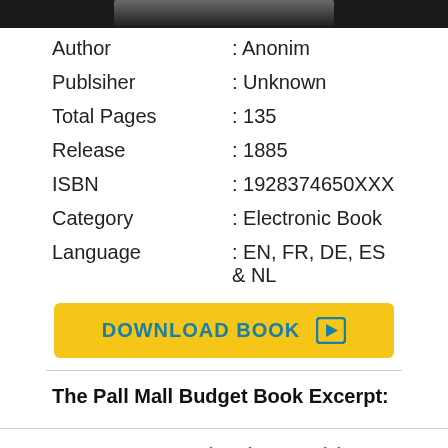[Figure (photo): Top portion of a book cover image, cropped at the top of the page]
| Author | : Anonim |
| Publsiher | : Unknown |
| Total Pages | : 135 |
| Release | : 1885 |
| ISBN | : 1928374650XXX |
| Category | : Electronic Book |
| Language | : EN, FR, DE, ES & NL |
[Figure (other): Yellow download button with text DOWNLOAD BOOK and a play icon]
The Pall Mall Budget Book Excerpt:
Our curate s budget ed by W